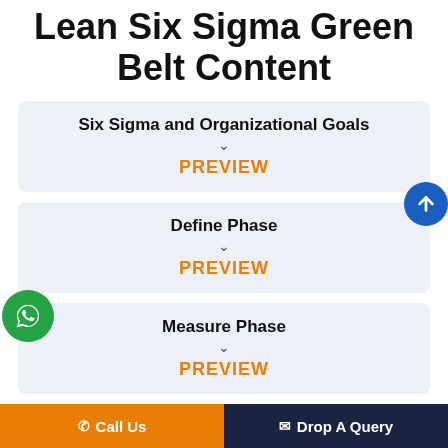Lean Six Sigma Green Belt Content
Six Sigma and Organizational Goals
PREVIEW
Define Phase
PREVIEW
Measure Phase
PREVIEW
Call Us   Drop A Query